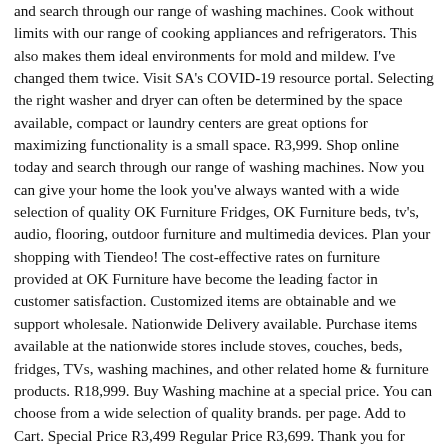and search through our range of washing machines. Cook without limits with our range of cooking appliances and refrigerators. This also makes them ideal environments for mold and mildew. I've changed them twice. Visit SA's COVID-19 resource portal. Selecting the right washer and dryer can often be determined by the space available, compact or laundry centers are great options for maximizing functionality is a small space. R3,999. Shop online today and search through our range of washing machines. Now you can give your home the look you've always wanted with a wide selection of quality OK Furniture Fridges, OK Furniture beds, tv's, audio, flooring, outdoor furniture and multimedia devices. Plan your shopping with Tiendeo! The cost-effective rates on furniture provided at OK Furniture have become the leading factor in customer satisfaction. Customized items are obtainable and we support wholesale. Nationwide Delivery available. Purchase items available at the nationwide stores include stoves, couches, beds, fridges, TVs, washing machines, and other related home & furniture products. R18,999. Buy Washing machine at a special price. You can choose from a wide selection of quality brands. per page. Add to Cart. Special Price R3,499 Regular Price R3,699. Thank you for your patience and support! View FAQ's about our open stores. Washing Machines; Washing Machines. Incredible deals, free delivery and price match on the best range of washing machines, fridge freezers, laptops and more. Advanced Search ... Defy 15kg Twin Tub Washing Machine Metallic